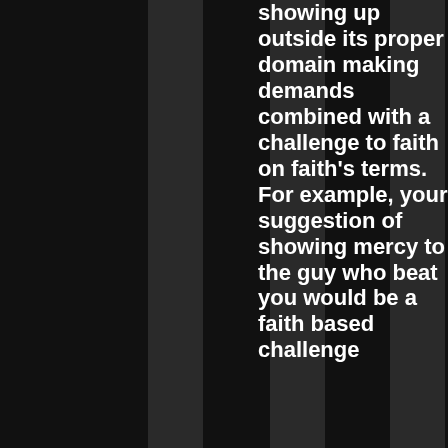showing up outside its proper domain making demands combined with a challenge to faith on faith's terms. For example, your suggestion of showing mercy to the guy who beat you would be a faith based challenge